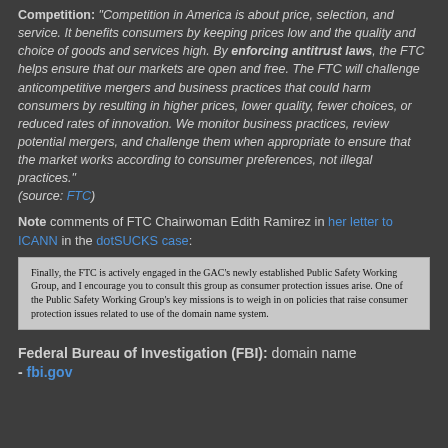Competition: "Competition in America is about price, selection, and service. It benefits consumers by keeping prices low and the quality and choice of goods and services high. By enforcing antitrust laws, the FTC helps ensure that our markets are open and free. The FTC will challenge anticompetitive mergers and business practices that could harm consumers by resulting in higher prices, lower quality, fewer choices, or reduced rates of innovation. We monitor business practices, review potential mergers, and challenge them when appropriate to ensure that the market works according to consumer preferences, not illegal practices." (source: FTC)
Note comments of FTC Chairwoman Edith Ramirez in her letter to ICANN in the dotSUCKS case:
Finally, the FTC is actively engaged in the GAC's newly established Public Safety Working Group, and I encourage you to consult this group as consumer protection issues arise. One of the Public Safety Working Group's key missions is to weigh in on policies that raise consumer protection issues related to use of the domain name system.
Federal Bureau of Investigation (FBI): domain name - fbi.gov